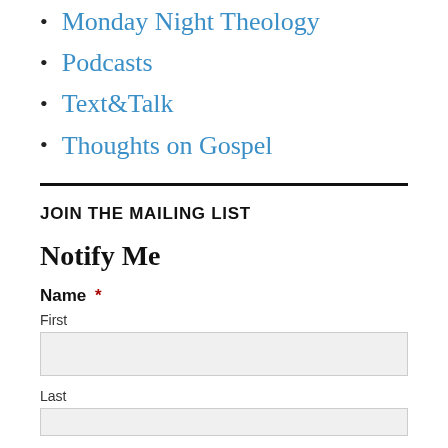Monday Night Theology
Podcasts
Text&Talk
Thoughts on Gospel
JOIN THE MAILING LIST
Notify Me
Name *
First
Last